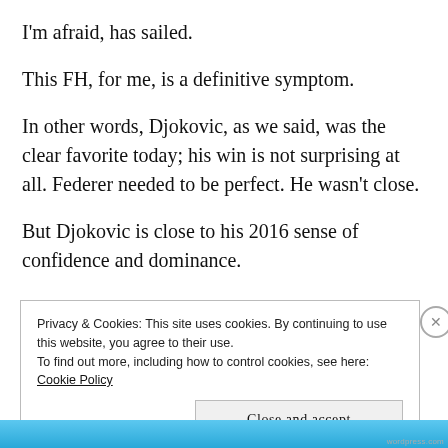I'm afraid, has sailed.
This FH, for me, is a definitive symptom.
In other words, Djokovic, as we said, was the clear favorite today; his win is not surprising at all. Federer needed to be perfect. He wasn't close.
But Djokovic is close to his 2016 sense of confidence and dominance.
Privacy & Cookies: This site uses cookies. By continuing to use this website, you agree to their use.
To find out more, including how to control cookies, see here: Cookie Policy
Close and accept